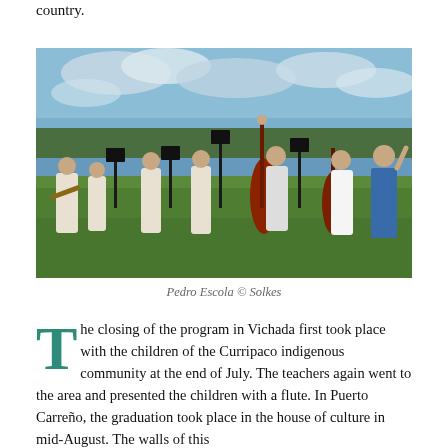country.
[Figure (photo): Young musicians playing string instruments (violins, double bass, cello) outdoors on green grass near a body of water under a cloudy sky, with a conductor directing them.]
Pedro Escola © Solkes
The closing of the program in Vichada first took place with the children of the Curripaco indigenous community at the end of July. The teachers again went to the area and presented the children with a flute. In Puerto Carreño, the graduation took place in the house of culture in mid-August. The walls of this